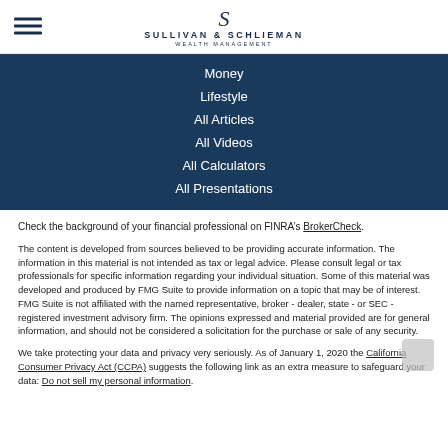Sullivan & Schlieman Wealth Management
Money
Lifestyle
All Articles
All Videos
All Calculators
All Presentations
Check the background of your financial professional on FINRA’s BrokerCheck.
The content is developed from sources believed to be providing accurate information. The information in this material is not intended as tax or legal advice. Please consult legal or tax professionals for specific information regarding your individual situation. Some of this material was developed and produced by FMG Suite to provide information on a topic that may be of interest. FMG Suite is not affiliated with the named representative, broker - dealer, state - or SEC - registered investment advisory firm. The opinions expressed and material provided are for general information, and should not be considered a solicitation for the purchase or sale of any security.
We take protecting your data and privacy very seriously. As of January 1, 2020 the California Consumer Privacy Act (CCPA) suggests the following link as an extra measure to safeguard your data: Do not sell my personal information.